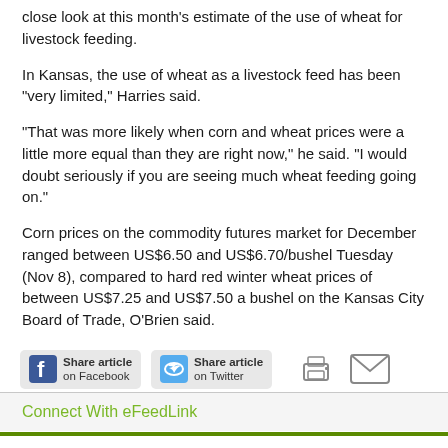close look at this month's estimate of the use of wheat for livestock feeding.
In Kansas, the use of wheat as a livestock feed has been "very limited," Harries said.
"That was more likely when corn and wheat prices were a little more equal than they are right now," he said. "I would doubt seriously if you are seeing much wheat feeding going on."
Corn prices on the commodity futures market for December ranged between US$6.50 and US$6.70/bushel Tuesday (Nov 8), compared to hard red winter wheat prices of between US$7.25 and US$7.50 a bushel on the Kansas City Board of Trade, O'Brien said.
[Figure (infographic): Share bar with Facebook share button, Twitter share button, print icon, and email icon]
Connect With eFeedLink